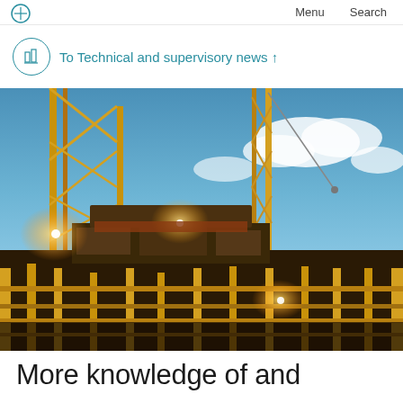Menu  Search
To Technical and supervisory news ↑
[Figure (photo): Oil rig / drilling platform at dusk with illuminated steel structures, cranes, and blue sky with clouds in background]
More knowledge of and